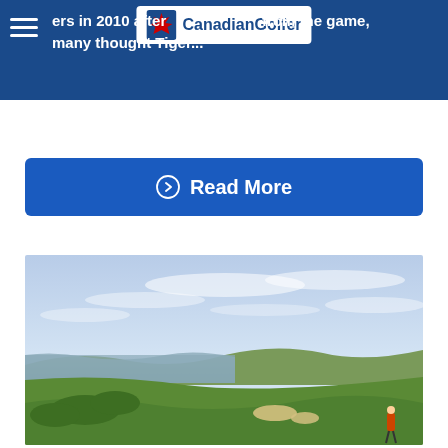CanadianGolfer
ers in 2010 after... from the game, many thought Tiger...
Read More
[Figure (photo): Golf course landscape with green fairways, sand bunkers, coastal water body in the background, overcast sky with light clouds, and a golfer visible in the lower right corner.]